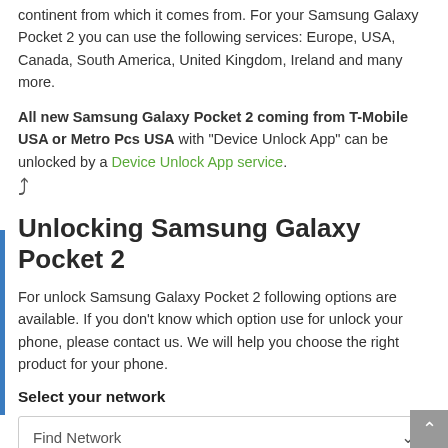continent from which it comes from. For your Samsung Galaxy Pocket 2 you can use the following services: Europe, USA, Canada, South America, United Kingdom, Ireland and many more.
All new Samsung Galaxy Pocket 2 coming from T-Mobile USA or Metro Pcs USA with "Device Unlock App" can be unlocked by a Device Unlock App service.
Unlocking Samsung Galaxy Pocket 2
For unlock Samsung Galaxy Pocket 2 following options are available. If you don't know which option use for unlock your phone, please contact us. We will help you choose the right product for your phone.
Select your network
Find Network